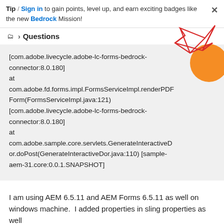Tip / Sign in to gain points, level up, and earn exciting badges like the new Bedrock Mission!
Questions
[com.adobe.livecycle.adobe-lc-forms-bedrock-connector:8.0.180]
at com.adobe.fd.forms.impl.FormsServiceImpl.renderPDFForm(FormsServiceImpl.java:121) [com.adobe.livecycle.adobe-lc-forms-bedrock-connector:8.0.180]
at com.adobe.sample.core.servlets.GenerateInteractiveDor.doPost(GenerateInteractiveDor.java:110) [sample-aem-31.core:0.0.1.SNAPSHOT]
I am using AEM 6.5.11 and AEM Forms 6.5.11 as well on windows machine.  I added properties in sling properties as well